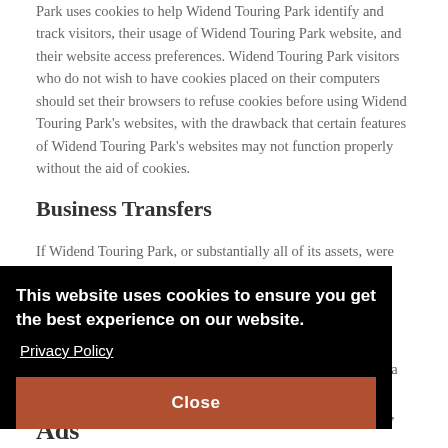Park uses cookies to help Widend Touring Park identify and track visitors, their usage of Widend Touring Park website, and their website access preferences. Widend Touring Park visitors who do not wish to have cookies placed on their computers should set their browsers to refuse cookies before using Widend Touring Park's websites, with the drawback that certain features of Widend Touring Park's websites may not function properly without the aid of cookies.
Business Transfers
If Widend Touring Park, or substantially all of its assets, were [acquired, or in the unlikely event that Widend Touring Park goes out of business or enters bankruptcy, user information would be one of the assets that is transferred or acquired by a successor company. You acknowledge that such transfers may occur, and that any acquirer of Widend Touring Park may continue to use your personal information as set forth in this policy.]
[Figure (screenshot): Cookie consent overlay banner with black background showing message 'This website uses cookies to ensure you get the best experience on our website.' with a Privacy Policy link, and a brown/terracotta colored 'Close' button at the bottom.]
Ads